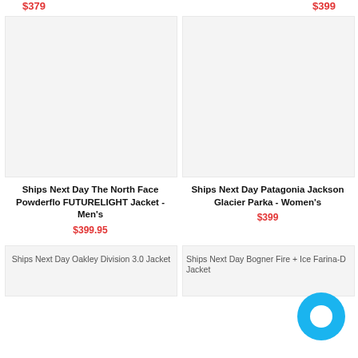$379
$399
[Figure (photo): Product image placeholder for The North Face Powderflo FUTURELIGHT Jacket]
Ships Next Day The North Face Powderflo FUTURELIGHT Jacket - Men's
$399.95
[Figure (photo): Product image placeholder for Patagonia Jackson Glacier Parka Women's]
Ships Next Day Patagonia Jackson Glacier Parka - Women's
$399
[Figure (photo): Product image placeholder for Oakley Division 3.0 Jacket]
Ships Next Day Oakley Division 3.0 Jacket
[Figure (photo): Product image placeholder for Bogner Fire + Ice Farina-D Jacket]
Ships Next Day Bogner Fire + Ice Farina-D Jacket